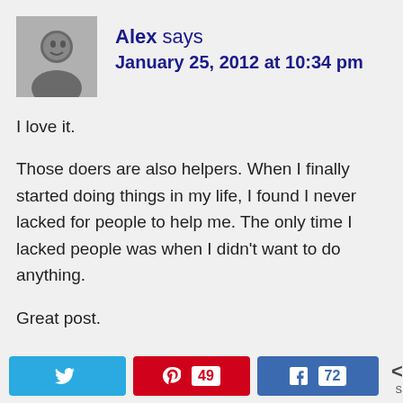[Figure (photo): Black and white avatar photo of a smiling man]
Alex says
January 25, 2012 at 10:34 pm
I love it.

Those doers are also helpers. When I finally started doing things in my life, I found I never lacked for people to help me. The only time I lacked people was when I didn't want to do anything.

Great post.
Reply
Twitter share | Pinterest 49 | Facebook 72 | < 121 SHARES